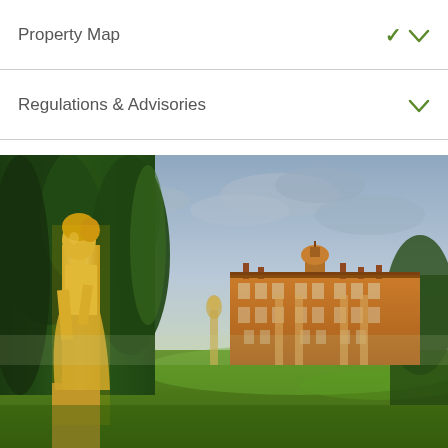Property Map
Regulations & Advisories
[Figure (photo): Outdoor photograph of a classical female statue in the foreground on the left, surrounded by dark green trees/hedges, with a large Georgian/Baroque style red brick country house or estate mansion in the background set on a wide green lawn, under a partly cloudy sky with warm golden evening light.]